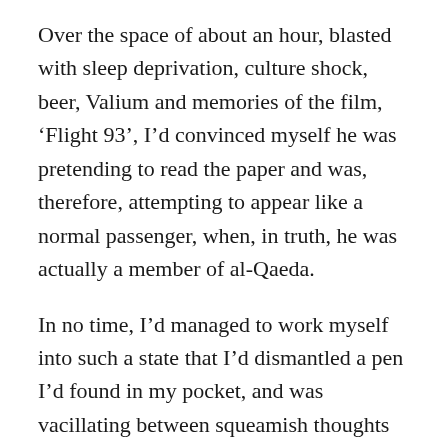Over the space of about an hour, blasted with sleep deprivation, culture shock, beer, Valium and memories of the film, ‘Flight 93’, I’d convinced myself he was pretending to read the paper and was, therefore, attempting to appear like a normal passenger, when, in truth, he was actually a member of al-Qaeda.

In no time, I’d managed to work myself into such a state that I’d dismantled a pen I’d found in my pocket, and was vacillating between squeamish thoughts of just what plunging the improvised plastic shiv into the guy’s neck would actually feel like, and…